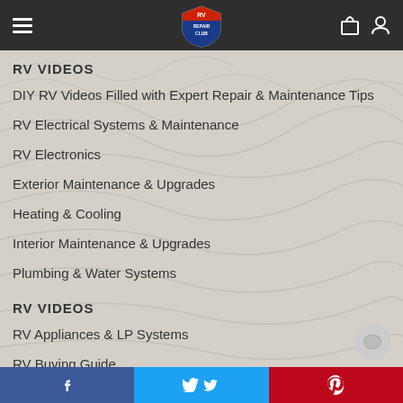RV Repair Club — navigation header with logo, hamburger menu, shopping bag icon, user icon
RV VIDEOS
DIY RV Videos Filled with Expert Repair & Maintenance Tips
RV Electrical Systems & Maintenance
RV Electronics
Exterior Maintenance & Upgrades
Heating & Cooling
Interior Maintenance & Upgrades
Plumbing & Water Systems
RV VIDEOS
RV Appliances & LP Systems
RV Buying Guide
Storage & Supplies
Share buttons: Facebook, Twitter, Pinterest